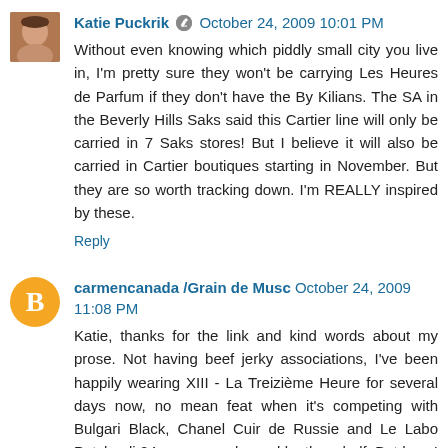Katie Puckrik ✎ October 24, 2009 10:01 PM
Without even knowing which piddly small city you live in, I'm pretty sure they won't be carrying Les Heures de Parfum if they don't have the By Kilians. The SA in the Beverly Hills Saks said this Cartier line will only be carried in 7 Saks stores! But I believe it will also be carried in Cartier boutiques starting in November. But they are so worth tracking down. I'm REALLY inspired by these.
Reply
carmencanada /Grain de Musc October 24, 2009 11:08 PM
Katie, thanks for the link and kind words about my prose. Not having beef jerky associations, I've been happily wearing XIII - La Treizième Heure for several days now, no mean feat when it's competing with Bulgari Black, Chanel Cuir de Russie and Le Labo Patchouli 24 on my smoke and leather shelf. But hey, I even like the fruity one... These are making a *lot* of the new stuff smell dull. Mathilde is a truly original artist.